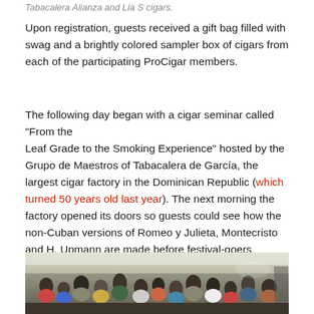Tabacalera Alianza and Lía S cigars.
Upon registration, guests received a gift bag filled with swag and a brightly colored sampler box of cigars from each of the participating ProCigar members.
The following day began with a cigar seminar called “From the Leaf Grade to the Smoking Experience” hosted by the Grupo de Maestros of Tabacalera de García, the largest cigar factory in the Dominican Republic (which turned 50 years old last year). The next morning the factory opened its doors so guests could see how the non-Cuban versions of Romeo y Julieta, Montecristo and H. Upmann are made before festival-goers departed for Santiago in the afternoon.
[Figure (photo): Crowd of people gathered under a tent or outdoor event space, appearing to be at a cigar festival event.]